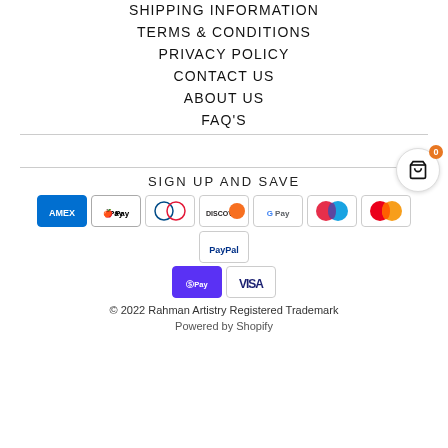SHIPPING INFORMATION
TERMS & CONDITIONS
PRIVACY POLICY
CONTACT US
ABOUT US
FAQ's
SIGN UP AND SAVE
[Figure (other): Payment method logos: American Express, Apple Pay, Diners Club, Discover, Google Pay, Maestro, Mastercard, PayPal, Shop Pay, Visa]
© 2022 Rahman Artistry Registered Trademark
Powered by Shopify